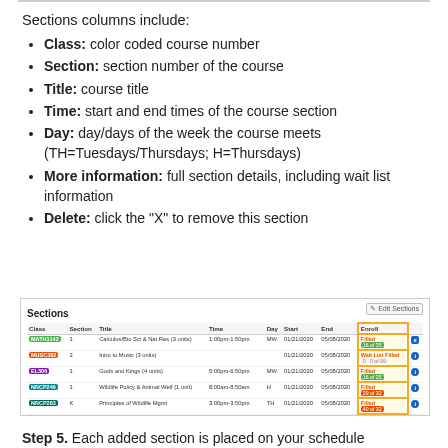Sections columns include:
Class: color coded course number
Section: section number of the course
Title: course title
Time: start and end times of the course section
Day: day/days of the week the course meets (TH=Tuesdays/Thursdays; H=Thursdays)
More information: full section details, including wait list information
Delete: click the "X" to remove this section
[Figure (screenshot): Screenshot of a Sections table with columns: Class, Section, Title, Time, Day, Start, End, Enroll. Rows show courses like MATH1142, MUSC382, EL306, NRCP246, NRCP283, ZOOL388. The Enroll column is highlighted in yellow/gold border and shows statuses like Filled, Wait List Filled with colored enrollment counts.]
Step 5. Each added section is placed on your schedule